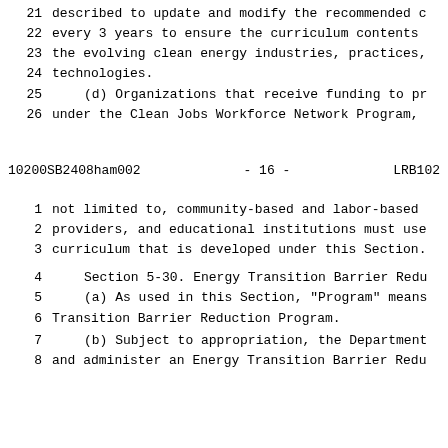described to update and modify the recommended c every 3 years to ensure the curriculum contents the evolving clean energy industries, practices, technologies.
(d) Organizations that receive funding to pr under the Clean Jobs Workforce Network Program,
10200SB2408ham002    - 16 -    LRB102
not limited to, community-based and labor-based providers, and educational institutions must use curriculum that is developed under this Section.
Section 5-30. Energy Transition Barrier Redu
(a) As used in this Section, "Program" means Transition Barrier Reduction Program.
(b) Subject to appropriation, the Department and administer an Energy Transition Barrier Redu